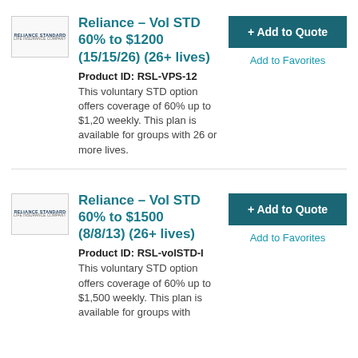Reliance – Vol STD 60% to $1200 (15/15/26) (26+ lives)
Product ID: RSL-VPS-12
This voluntary STD option offers coverage of 60% up to $1,20 weekly. This plan is available for groups with 26 or more lives.
Reliance – Vol STD 60% to $1500 (8/8/13) (26+ lives)
Product ID: RSL-volSTD-I
This voluntary STD option offers coverage of 60% up to $1,500 weekly. This plan is available for groups with